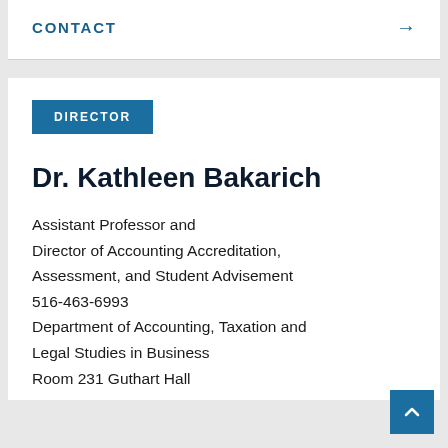CONTACT →
DIRECTOR
Dr. Kathleen Bakarich
Assistant Professor and Director of Accounting Accreditation, Assessment, and Student Advisement
516-463-6993
Department of Accounting, Taxation and Legal Studies in Business
Room 231 Guthart Hall